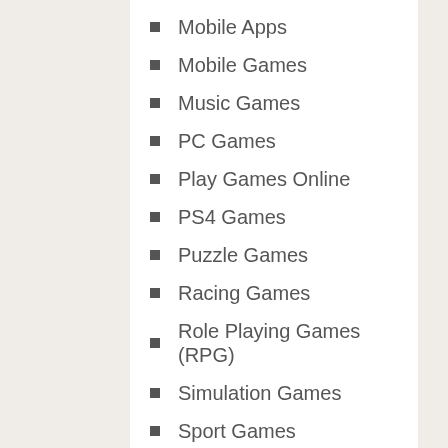Mobile Apps
Mobile Games
Music Games
PC Games
Play Games Online
PS4 Games
Puzzle Games
Racing Games
Role Playing Games (RPG)
Simulation Games
Sport Games
Strategy Games
Trivia Games
Uncategorized
Utility Apps
Videos
Word Games